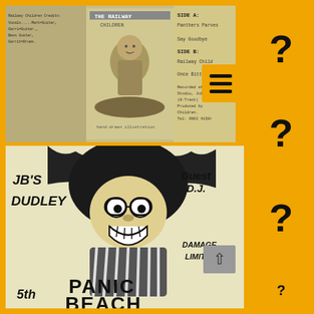[Figure (photo): Top portion showing a cassette tape insert/inlay for 'Railway Children'. Left side shows typewritten band member credits in small text. Center shows a hand-drawn image of a child labeled 'The Railway Children'. Right side shows typed track listing: SIDE A: Panthers Parves, Say Goodbye; SIDE B: Railway Child, Once Bitten. Recorded at Studio July, 8-Track, Produced by Children. Tel: 0902 4138r. An orange square with menu/hamburger icon overlays the upper right of this image.]
[Figure (photo): Bottom portion showing a black and white flyer/poster for a music event at JB's, Dudley. Features a cartoon illustration of a person with large afro hair, round glasses and big grin labeled 'PANIC BEACH' (partially cut off). Handwritten text reads: 'JB'S DUDLEY' on left side, 'Guest D.J.' on upper right, 'DAMAGE LIMITA-' on lower right, '5th' at bottom left. A grey back/up arrow button overlays lower right area.]